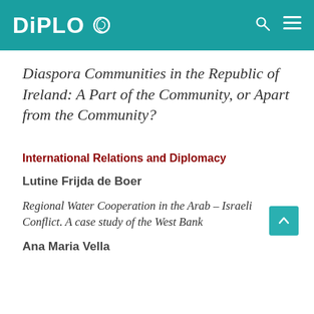DiPLO
Diaspora Communities in the Republic of Ireland: A Part of the Community, or Apart from the Community?
International Relations and Diplomacy
Lutine Frijda de Boer
Regional Water Cooperation in the Arab – Israeli Conflict. A case study of the West Bank
Ana Maria Vella